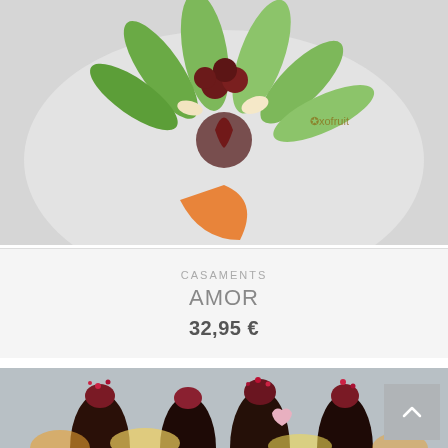[Figure (photo): Top-down view of a decorative fruit arrangement with green kiwi slices, apple slices, cherries, strawberries, and other fruits arranged in a flower-like pattern on a white surface. Exofruit logo watermark visible.]
CASAMENTS
AMOR
32,95 €
[Figure (photo): Chocolate-covered strawberries decorated with red berry crumbles and pink hearts, arranged on pineapple and citrus fruit slices, on a light blue background.]